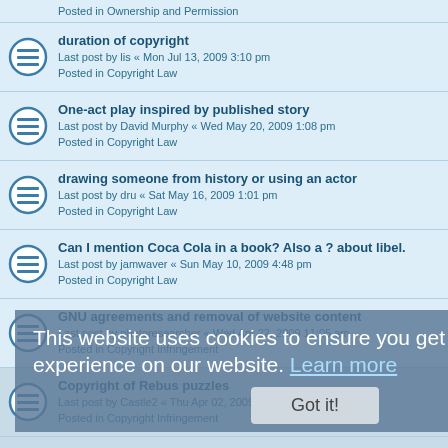Posted in Ownership and Permission
duration of copyright
Last post by lis « Mon Jul 13, 2009 3:10 pm
Posted in Copyright Law
One-act play inspired by published story
Last post by David Murphy « Wed May 20, 2009 1:08 pm
Posted in Copyright Law
drawing someone from history or using an actor
Last post by dru « Sat May 16, 2009 1:01 pm
Posted in Copyright Law
Can I mention Coca Cola in a book? Also a ? about libel.
Last post by jamwaver « Sun May 10, 2009 4:48 pm
Posted in Copyright Law
GNU agreements and removal of website content
Last post by photoresearcher « Wed Apr 22, 2009 11:05 am
Posted in Copyright Infringement
Copyright of Rebus puzzles
Last post by Castle2 « Thu Apr 02, 2009 11:43 am
Posted in Copyright Infringement
Copyright Duration & Adaptation Right
Last post by lis « Tue Mar 24, 2009 3:42 pm
Posted in Copyright Law
Using old posters in own desin
Last post by tokado « Fri Mar 20, 2009 9:41 pm
Posted in Copyright Basics